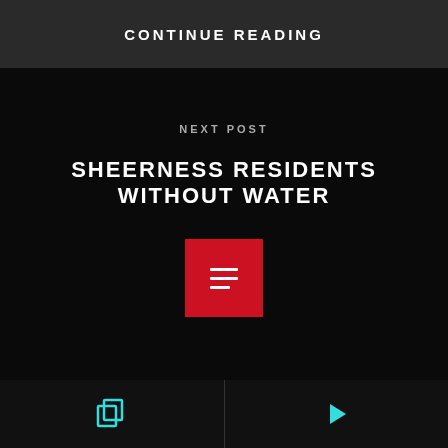CONTINUE READING
NEXT POST
SHEERNESS RESIDENTS WITHOUT WATER
[Figure (other): Red square icon with three horizontal lines (hamburger/list icon) in white]
PREVIOUS POST
[Figure (other): Copy/duplicate icon in teal/cyan color on bottom left navigation]
[Figure (other): Play/arrow icon in teal/cyan color on bottom right navigation]